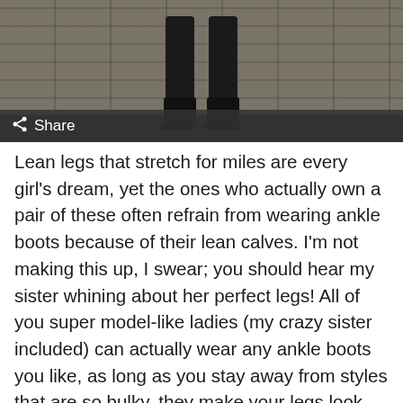[Figure (photo): Close-up photo of a person wearing black boots/knee-high boots standing against a stone wall background, with a dark share bar overlay at the bottom of the image containing a share icon and 'Share' text.]
Lean legs that stretch for miles are every girl’s dream, yet the ones who actually own a pair of these often refrain from wearing ankle boots because of their lean calves. I’m not making this up, I swear; you should hear my sister whining about her perfect legs! All of you super model-like ladies (my crazy sister included) can actually wear any ankle boots you like, as long as you stay away from styles that are so bulky, they make your legs look like toothpicks. Details, shine or texture should be the wow factor of your perfect boots, not chunky heels, thick soles or boxy styles.